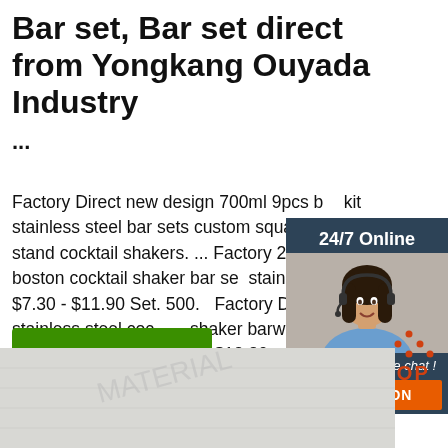Bar set, Bar set direct from Yongkang Ouyada Industry ...
Factory Direct new design 700ml 9pcs bar kit stainless steel bar sets custom square frame stand cocktail shakers. ... Factory 28oz metal boston cocktail shaker bar set stainless steel. $7.30 - $11.90 Set. 500.0 Factory Direct 700ml stainless steel cocktail shaker barware set with bamboo wood s $2.40 - $12.80 ...
[Figure (photo): 24/7 Online chat panel with woman wearing headset, 'Click here for free chat!' text, and orange QUOTATION button]
[Figure (other): Get Price green button]
[Figure (other): TOP icon with red text and dot pattern]
[Figure (photo): Partial image at bottom of page showing a surface/material]